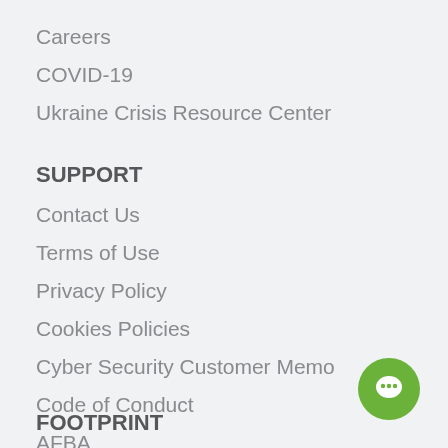Careers
COVID-19
Ukraine Crisis Resource Center
SUPPORT
Contact Us
Terms of Use
Privacy Policy
Cookies Policies
Cyber Security Customer Memo
Code of Conduct
AFBA
Sitemap
[Figure (illustration): Green circular chat/support button icon in bottom right corner]
FOOTPRINT